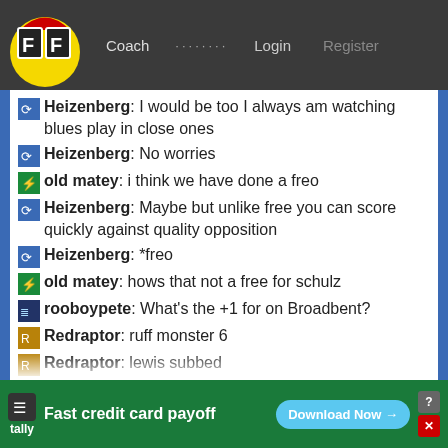FF Coach ········ Login Register
Heizenberg: I would be too I always am watching blues play in close ones
Heizenberg: No worries
old matey: i think we have done a freo
Heizenberg: Maybe but unlike free you can score quickly against quality opposition
Heizenberg: *freo
old matey: hows that not a free for schulz
rooboypete: What's the +1 for on Broadbent?
Redraptor: ruff monster 6
Redraptor: lewis subbed
old matey: ruff overated lol
Heizenberg: 23 points tough from here
old matey: hopefully we out run em in the
Fast credit card payoff